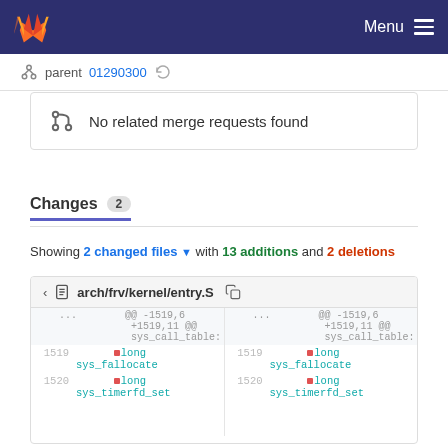GitLab — Menu
parent 01290300 (refresh icon)
No related merge requests found
Changes 2
Showing 2 changed files with 13 additions and 2 deletions
arch/frv/kernel/entry.S
| left_linenum | left_code | right_linenum | right_code |
| --- | --- | --- | --- |
| ... | @@ -1519,6 +1519,11 @@ sys_call_table: | ... | @@ -1519,6 +1519,11 @@ sys_call_table: |
| 1519 | .long sys_fallocate | 1519 | .long sys_fallocate |
| 1520 | .long sys_timerfd_set | 1520 | .long sys_timerfd_set |